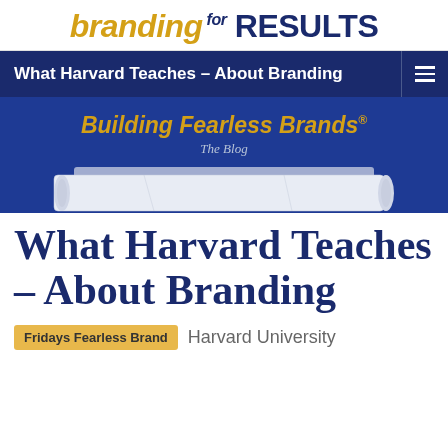[Figure (logo): Branding for Results logo with 'branding' in gold italic and 'RESULTS' in dark blue bold, with 'for' in superscript between them]
What Harvard Teaches – About Branding
[Figure (illustration): Blue banner with 'Building Fearless Brands® The Blog' text in gold italic, with a rolled paper/scroll image at the bottom]
What Harvard Teaches – About Branding
Fridays Fearless Brand   Harvard University